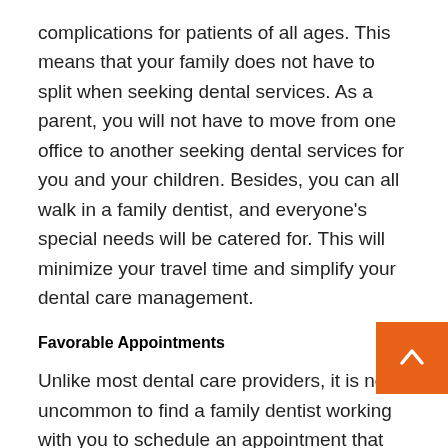complications for patients of all ages. This means that your family does not have to split when seeking dental services. As a parent, you will not have to move from one office to another seeking dental services for you and your children. Besides, you can all walk in a family dentist, and everyone's special needs will be catered for. This will minimize your travel time and simplify your dental care management.
Favorable Appointments
Unlike most dental care providers, it is not uncommon to find a family dentist working with you to schedule an appointment that suits your lifestyle. This eliminates the fears of visiting the dental clinic wh you are not comfortable with the appointment tim and it limits your emotions where you are not pleased.